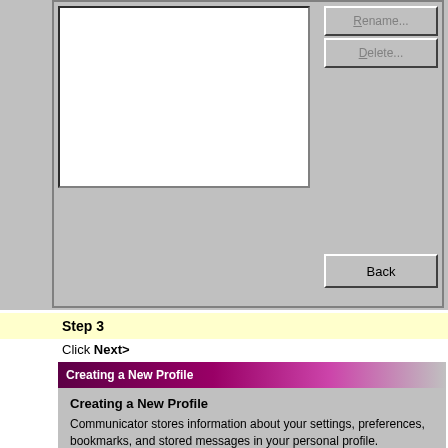[Figure (screenshot): Screenshot of a Windows dialog box showing a profile manager with a list panel, Rename..., Delete..., and Back buttons]
Step 3
Click Next>
[Figure (screenshot): Screenshot of 'Creating a New Profile' dialog with purple gradient title bar showing profile creation instructions]
Creating a New Profile

Communicator stores information about your settings, preferences, bookmarks, and stored messages in your personal profile.

If you are sharing this copy of Communicator with other users, you can use profiles to keep each user's information separate.  To do this, each user should create his or her own profile and optionally protect it with a password.

If you are the only person using this copy of Communicator, you must create at least one profile.  If you would like, you can create multiple profiles for yourself to store different sets of settings and preferences.

For example, you may want to have separate profiles for business and personal use.